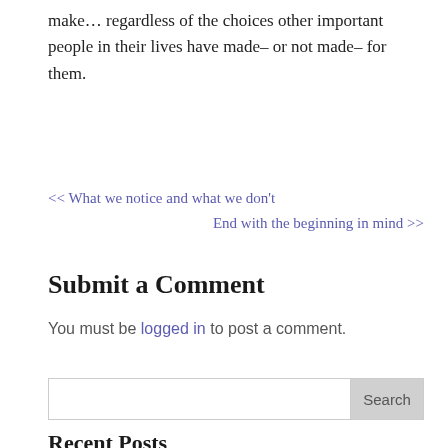make... regardless of the choices other important people in their lives have made– or not made– for them.
<< What we notice and what we don't
End with the beginning in mind >>
Submit a Comment
You must be logged in to post a comment.
Recent Posts